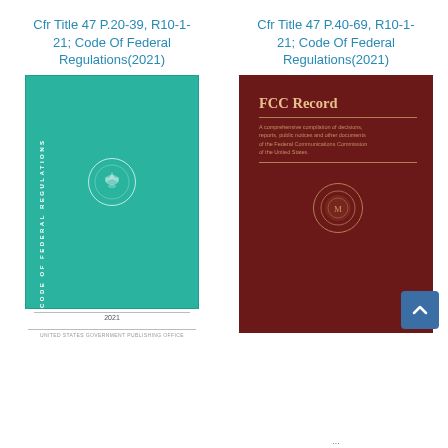Cfr Title 47 P.20-39, R10-1-21; Code Of Federal Regulations(2021)
[Figure (illustration): Book cover of Code of Federal Regulations, teal green cover with eagle seal and spine text, year 2021, published by United States Government Publishing Office]
Cfr Title 47 P.40-69, R10-1-21; Code Of Federal Regulations(2021)
[Figure (illustration): Book cover of FCC Record, dark red/maroon cover with title FCC Record, subtitle text about comprehensive compilation of decisions, reports, public notices and other documents of the Federal Communications Commission of the United States, with circular seal]